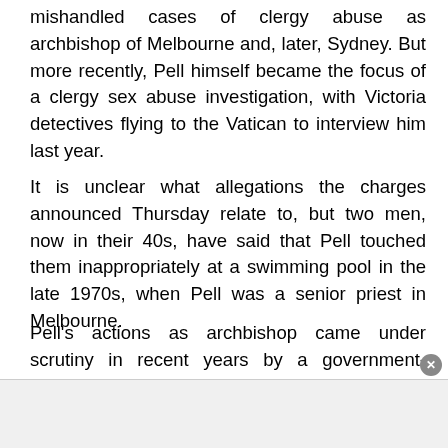mishandled cases of clergy abuse as archbishop of Melbourne and, later, Sydney. But more recently, Pell himself became the focus of a clergy sex abuse investigation, with Victoria detectives flying to the Vatican to interview him last year.
It is unclear what allegations the charges announced Thursday relate to, but two men, now in their 40s, have said that Pell touched them inappropriately at a swimming pool in the late 1970s, when Pell was a senior priest in Melbourne.
Pell's actions as archbishop came under scrutiny in recent years by a government-authorized investigation into how the Catholic Church and other institutions have responded to the sexual abuse of children. The